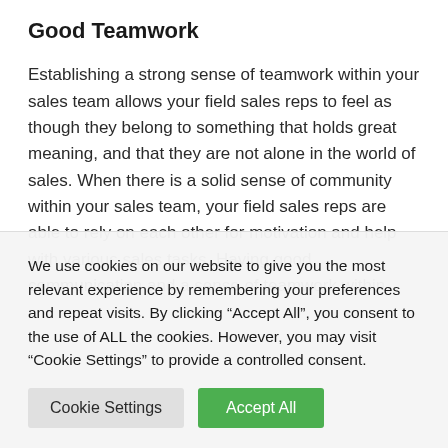Good Teamwork
Establishing a strong sense of teamwork within your sales team allows your field sales reps to feel as though they belong to something that holds great meaning, and that they are not alone in the world of sales. When there is a solid sense of community within your sales team, your field sales reps are able to rely on each other for motivation and help with various sales tasks. Having good communication and a sense of teamwork within
We use cookies on our website to give you the most relevant experience by remembering your preferences and repeat visits. By clicking “Accept All”, you consent to the use of ALL the cookies. However, you may visit “Cookie Settings” to provide a controlled consent.